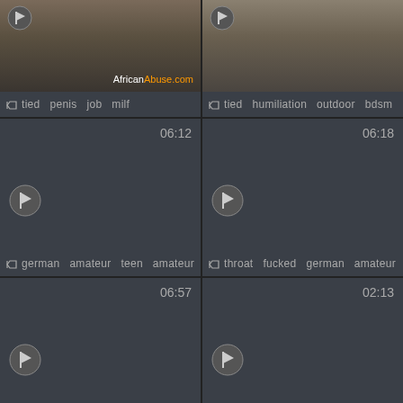[Figure (screenshot): Video thumbnail top-left with tags: tied, penis, job, milf]
[Figure (screenshot): Video thumbnail top-right with tags: tied, humiliation, outdoor, bdsm]
[Figure (screenshot): Video thumbnail duration 06:12 with tags: german, amateur, teen, amateur]
[Figure (screenshot): Video thumbnail duration 06:18 with tags: throat, fucked, german, amateur]
[Figure (screenshot): Video thumbnail duration 06:57 with tags: oral, fucking, natural, fitness]
[Figure (screenshot): Video thumbnail duration 02:13 with tags: insertion, amateur, ass, bizarre]
[Figure (screenshot): Video thumbnail duration 07:40 partial]
[Figure (screenshot): Video thumbnail partial, no visible data]